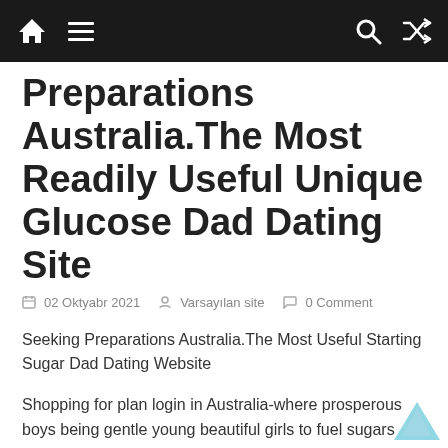Navigation bar with home icon, hamburger menu, search icon, and shuffle icon
Preparations Australia.The Most Readily Useful Unique Glucose Dad Dating Site
02 Oktyabr 2021   Varsayılan site   0 Comment
Seeking Preparations Australia.The Most Useful Starting Sugar Dad Dating Website
Shopping for plan login in Australia-where prosperous boys being gentle young beautiful girls to fuel sugars partnership
Interested in strategies Melbourne is actually a tendency that collectively useful relations and daring interesting connections engage in. In search of arrangement AU would be the sugary